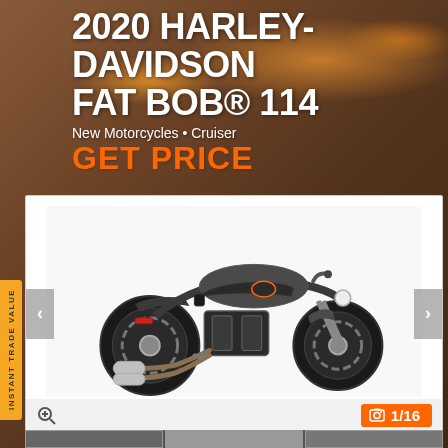2020 HARLEY-DAVIDSON FAT BOB® 114
New Motorcycles • Cruiser
GET PRICE
INSTANT TRADE VALUE
[Figure (photo): 2020 Harley-Davidson Fat Bob 114 motorcycle in dark grey/gunship color, side profile view, shown on white background inside a photo carousel]
1/16